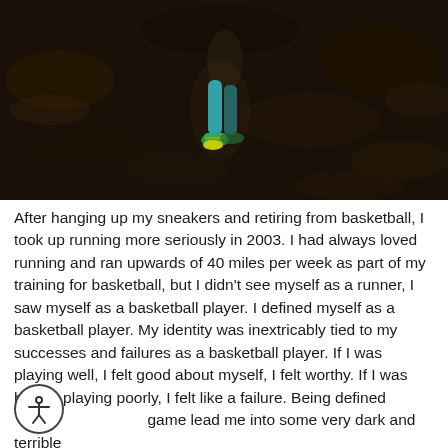[Figure (photo): Dark nighttime photo of a runner on a trail, showing legs with teal/cyan compression socks and colorful running shoes, dark forest background]
After hanging up my sneakers and retiring from basketball, I took up running more seriously in 2003. I had always loved running and ran upwards of 40 miles per week as part of my training for basketball, but I didn't see myself as a runner, I saw myself as a basketball player. I defined myself as a basketball player. My identity was inextricably tied to my successes and failures as a basketball player. If I was playing well, I felt good about myself, I felt worthy. If I was hurt or playing poorly, I felt like a failure. Being defined by the game lead me into some very dark and terrible places. Ultimately when I retired from basketball, I walked away from the game, and into who I wanted to be and how I